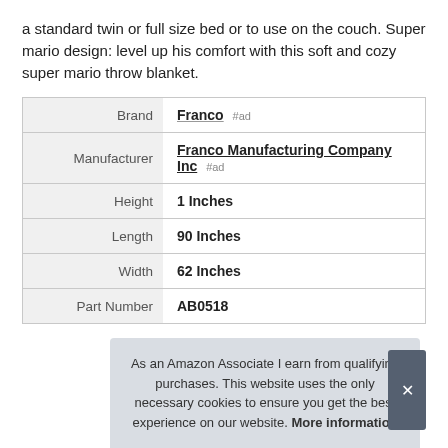a standard twin or full size bed or to use on the couch. Super mario design: level up his comfort with this soft and cozy super mario throw blanket.
|  |  |
| --- | --- |
| Brand | Franco #ad |
| Manufacturer | Franco Manufacturing Company Inc #ad |
| Height | 1 Inches |
| Length | 90 Inches |
| Width | 62 Inches |
| Part Number | AB0518 |
As an Amazon Associate I earn from qualifying purchases. This website uses the only necessary cookies to ensure you get the best experience on our website. More information